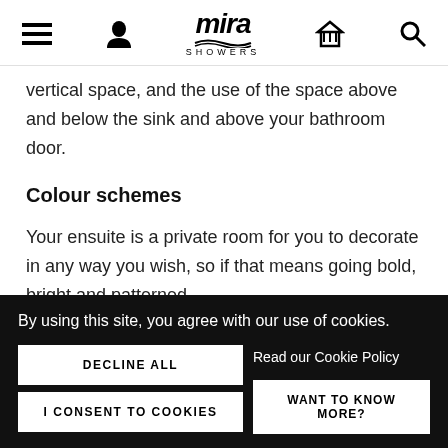Mira Showers navigation header
vertical space, and the use of the space above and below the sink and above your bathroom door.
Colour schemes
Your ensuite is a private room for you to decorate in any way you wish, so if that means going bold, bright and patterned,
By using this site, you agree with our use of cookies.
DECLINE ALL
Read our Cookie Policy
I CONSENT TO COOKIES
WANT TO KNOW MORE?